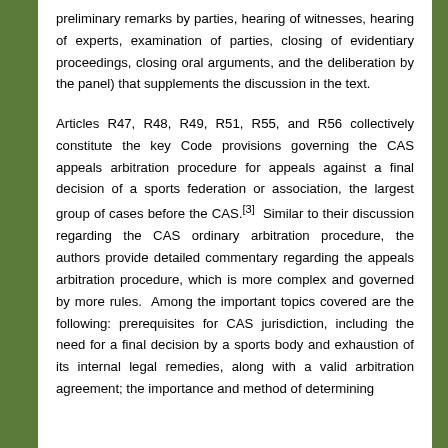preliminary remarks by parties, hearing of witnesses, hearing of experts, examination of parties, closing of evidentiary proceedings, closing oral arguments, and the deliberation by the panel) that supplements the discussion in the text.
Articles R47, R48, R49, R51, R55, and R56 collectively constitute the key Code provisions governing the CAS appeals arbitration procedure for appeals against a final decision of a sports federation or association, the largest group of cases before the CAS.[3]  Similar to their discussion regarding the CAS ordinary arbitration procedure, the authors provide detailed commentary regarding the appeals arbitration procedure, which is more complex and governed by more rules.  Among the important topics covered are the following: prerequisites for CAS jurisdiction, including the need for a final decision by a sports body and exhaustion of its internal legal remedies, along with a valid arbitration agreement; the importance and method of determining